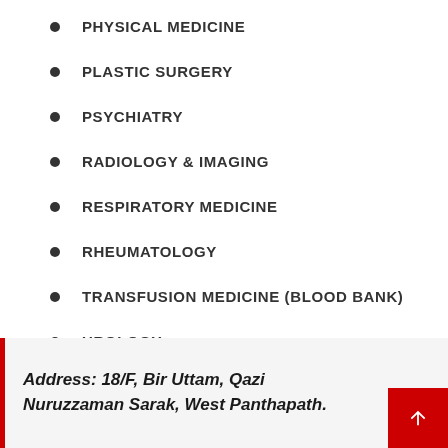PHYSICAL MEDICINE
PLASTIC SURGERY
PSYCHIATRY
RADIOLOGY & IMAGING
RESPIRATORY MEDICINE
RHEUMATOLOGY
TRANSFUSION MEDICINE (BLOOD BANK)
UROLOGY
Address: 18/F, Bir Uttam, Qazi Nuruzzaman Sarak, West Panthapath.